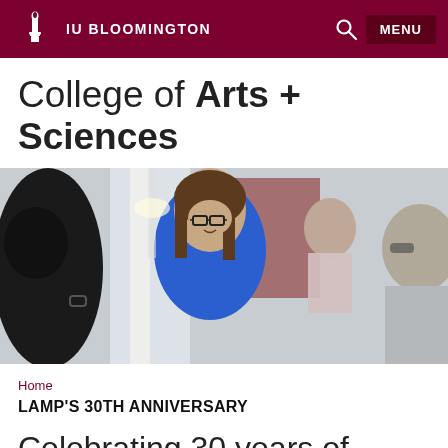IU BLOOMINGTON  MENU
College of Arts + Sciences
[Figure (photo): A woman with brown hair and glasses wearing a blue sweater smiles while speaking with others in an indoor setting. A man in the background and another person on the right are partially visible.]
Home
LAMP'S 30TH ANNIVERSARY
Celebrating 30 years of LAMP